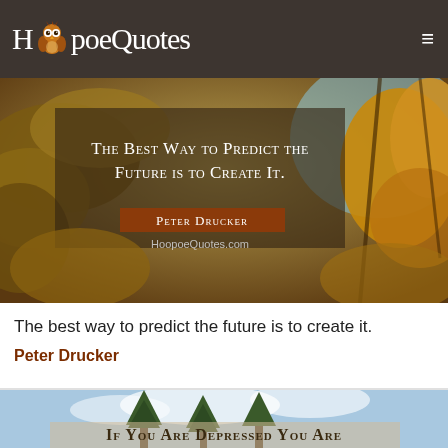HoopoeQuotes
[Figure (photo): Autumn leaves background with overlaid quote text: 'The best way to predict the future is to create it.' attributed to Peter Drucker, with HoopoeQuotes.com watermark]
The best way to predict the future is to create it.
Peter Drucker
[Figure (photo): Sky and trees background with overlaid text beginning: 'If you are depressed you are']